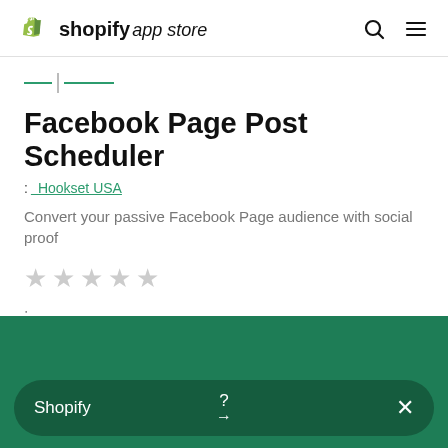shopify app store
[Figure (logo): Shopify app store logo with green bag icon, bold 'shopify' and italic 'app store' text, plus search and menu icons]
Facebook Page Post Scheduler
: Hookset USA
Convert your passive Facebook Page audience with social proof
★★★★★
:
[Figure (screenshot): Green bottom bar with dark green pill containing Shopify text, question mark, arrow, and X close button]